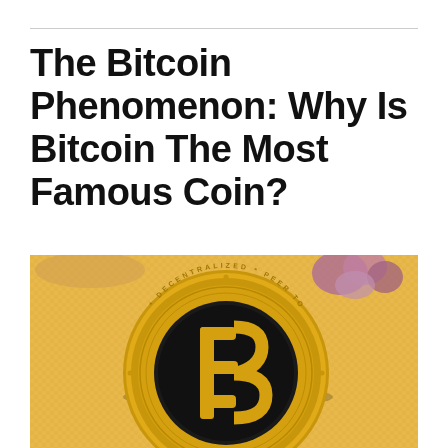The Bitcoin Phenomenon: Why Is Bitcoin The Most Famous Coin?
[Figure (photo): A gold Bitcoin physical coin with the Bitcoin logo (₿) engraved in black, showing 'DECENTRALIZED' and 'PEER TO PEER' text around the rim, placed on a warm golden woven background with purple flowers visible in the upper right.]